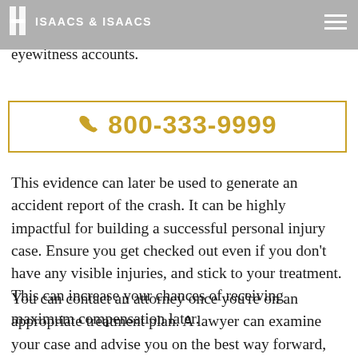ISAACS & ISAACS
offer first aid to the accident victims, the police can collect evidence, like photos of the crash and eyewitness accounts.
📞 800-333-9999
This evidence can later be used to generate an accident report of the crash. It can be highly impactful for building a successful personal injury case. Ensure you get checked out even if you don't have any visible injuries, and stick to your treatment. This can increase your chances of receiving maximum compensation later.
You can contact an attorney once you're on an appropriate treatment plan. A lawyer can examine your case and advise you on the best way forward, whether suing a motorist, pet owner, restaurant owner, or a local government. The attorney can